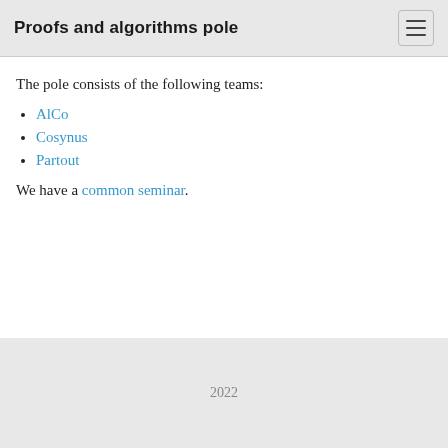Proofs and algorithms pole
The pole consists of the following teams:
AlCo
Cosynus
Partout
We have a common seminar.
2022